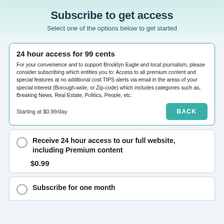Subscribe to get access
Select one of the options below to get started
24 hour access for 99 cents
For your convenience and to support Brooklyn Eagle and local journalism, please consider subscribing which entitles you to: Access to all premium content and special features at no additional cost TIPS alerts via email in the areas of your special interest (Borough-wide, or Zip-code) which includes categories such as, Breaking News, Real Estate, Politics, People, etc.
Starting at $0.99/day
BACK
Receive 24 hour access to our full website, including Premium content
$0.99
Subscribe for one month